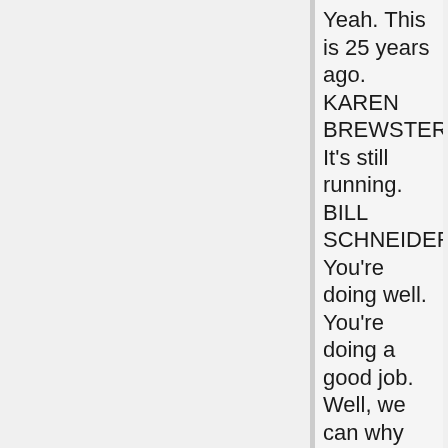Yeah. This is 25 years ago. KAREN BREWSTER: It's still running. BILL SCHNEIDER: You're doing well. You're doing a good job. Well, we can why don't we just say for the purposes of the transcription that we'll pick up on. Let's go back on.
Section 10:
KAREN BREWSTER: